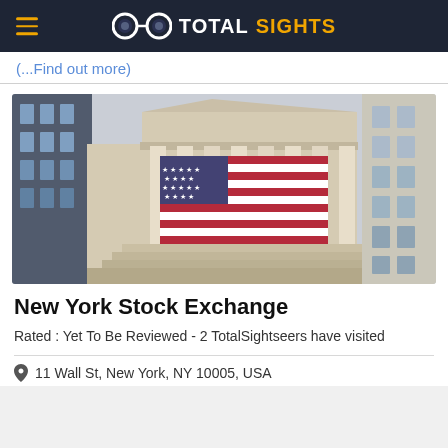TOTAL SIGHTS
(...Find out more)
[Figure (photo): Photograph of the New York Stock Exchange building facade with a large American flag hanging between columns, flanked by tall Manhattan buildings]
New York Stock Exchange
Rated : Yet To Be Reviewed - 2 TotalSightseers have visited
11 Wall St, New York, NY 10005, USA